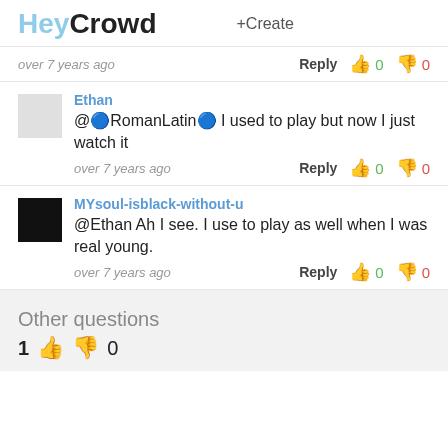HeyCrowd +Create
over 7 years ago   Reply  👍 0  👎 0
Ethan
@🔵RomanLatin🔵 I used to play but now I just watch it
over 7 years ago   Reply  👍 0  👎 0
MYsoul-isblack-without-u
@Ethan Ah I see. I use to play as well when I was real young.
over 7 years ago   Reply  👍 0  👎 0
Other questions
1  👍  👎  0